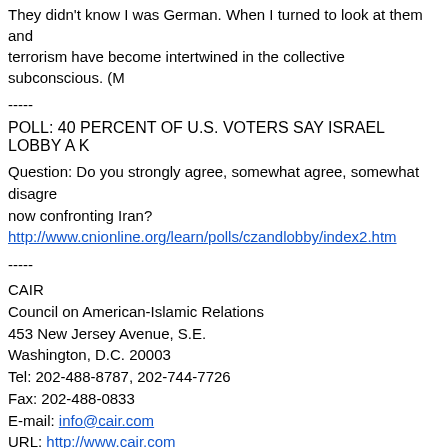They didn't know I was German. When I turned to look at them and terrorism have become intertwined in the collective subconscious. (M
-----
POLL: 40 PERCENT OF U.S. VOTERS SAY ISRAEL LOBBY A K
Question: Do you strongly agree, somewhat agree, somewhat disagree now confronting Iran?
http://www.cnionline.org/learn/polls/czandlobby/index2.htm
-----
CAIR
Council on American-Islamic Relations
453 New Jersey Avenue, S.E.
Washington, D.C. 20003
Tel: 202-488-8787, 202-744-7726
Fax: 202-488-0833
E-mail: info@cair.com
URL: http://www.cair.com
-----
To reach the list moderator, send a message to: info@cair.com